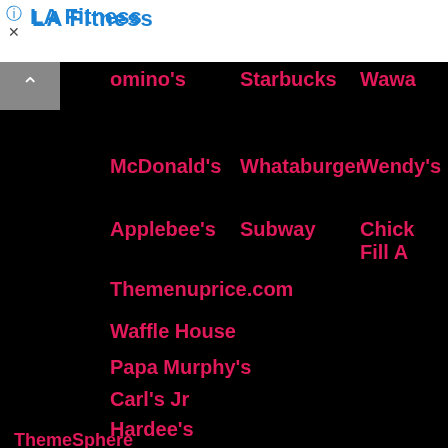LA Fitness
Domino's
Starbucks
Wawa
McDonald's
Whataburger
Wendy's
Applebee's
Subway
Chick Fill A
Themenuprice.com
Waffle House
Papa Murphy's
Carl's Jr
Hardee's
ThemeSphere